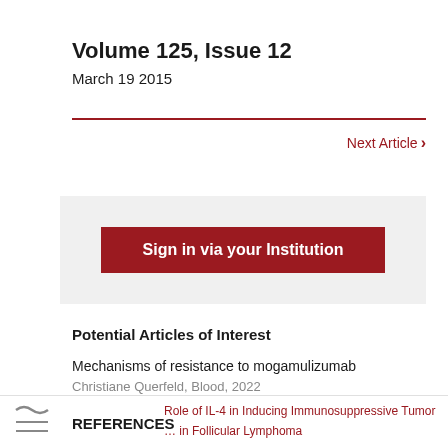Volume 125, Issue 12
March 19 2015
Next Article >
Sign in via your Institution
Potential Articles of Interest
Mechanisms of resistance to mogamulizumab
Christiane Querfeld, Blood, 2022
REFERENCES
Role of IL-4 in Inducing Immunosuppressive Tumor ... in Follicular Lymphoma